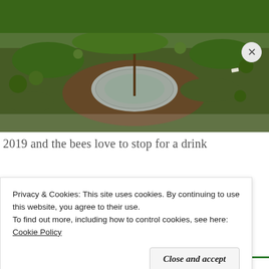[Figure (photo): Outdoor ground-level photo showing a concrete or stone circular marking in the soil surrounded by green grass, moss, and earth. A thin stick or stake protrudes from the center.]
2019 and the bees love to stop for a drink
Advertisements
[Figure (screenshot): Advertisement banner with blue-to-purple gradient background showing white text: 'Simplified pricing for everything you need.' with a pink/red button and a hand holding a device on the right.]
Privacy & Cookies: This site uses cookies. By continuing to use this website, you agree to their use.
To find out more, including how to control cookies, see here:
Cookie Policy
Close and accept